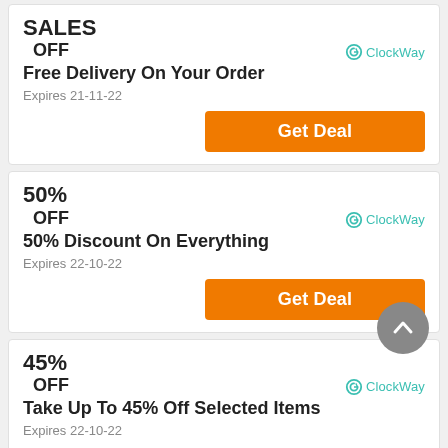SALES
OFF
Free Delivery On Your Order
Expires 21-11-22
Get Deal
50%
OFF
50% Discount On Everything
Expires 22-10-22
Get Deal
45%
OFF
Take Up To 45% Off Selected Items
Expires 22-10-22